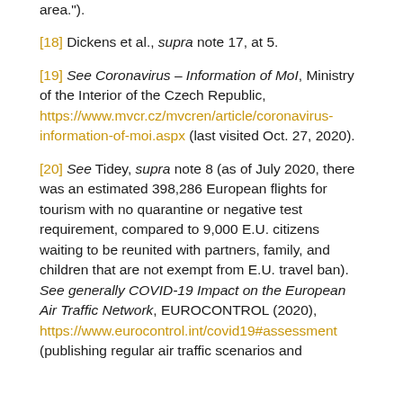area.").
[18] Dickens et al., supra note 17, at 5.
[19] See Coronavirus – Information of MoI, Ministry of the Interior of the Czech Republic, https://www.mvcr.cz/mvcren/article/coronavirus-information-of-moi.aspx (last visited Oct. 27, 2020).
[20] See Tidey, supra note 8 (as of July 2020, there was an estimated 398,286 European flights for tourism with no quarantine or negative test requirement, compared to 9,000 E.U. citizens waiting to be reunited with partners, family, and children that are not exempt from E.U. travel ban).  See generally COVID-19 Impact on the European Air Traffic Network, EUROCONTROL (2020), https://www.eurocontrol.int/covid19#assessment (publishing regular air traffic scenarios and